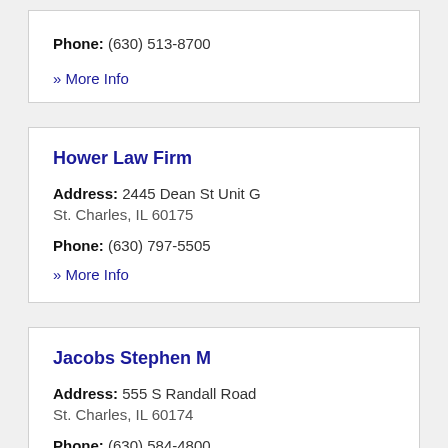Phone: (630) 513-8700
» More Info
Hower Law Firm
Address: 2445 Dean St Unit G
St. Charles, IL 60175
Phone: (630) 797-5505
» More Info
Jacobs Stephen M
Address: 555 S Randall Road
St. Charles, IL 60174
Phone: (630) 584-4800
» More Info